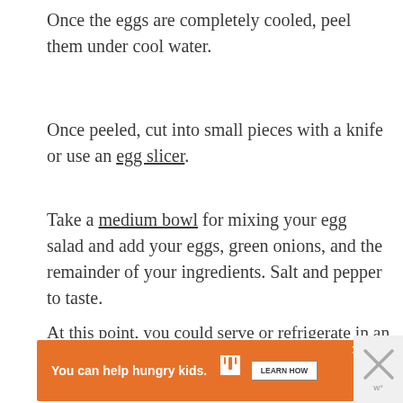Once the eggs are completely cooled, peel them under cool water.
Once peeled, cut into small pieces with a knife or use an egg slicer.
Take a medium bowl for mixing your egg salad and add your eggs, green onions, and the remainder of your ingredients. Salt and pepper to taste.
At this point, you could serve or refrigerate in an airtight container.
[Figure (other): Advertisement banner: orange background with text 'You can help hungry kids.' No Kid Hungry logo and 'LEARN HOW' button. Close button in corner.]